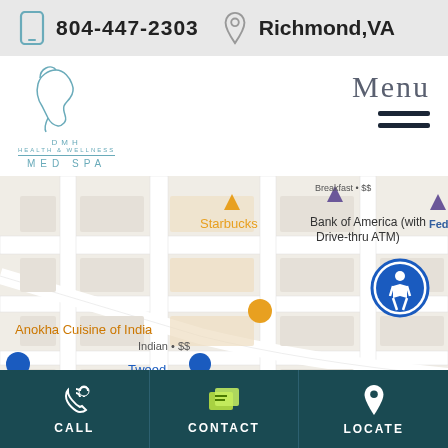804-447-2303   Richmond, VA
[Figure (logo): DMH Health & Wellness Med Spa logo with face profile illustration]
Menu
[Figure (map): Google Maps view showing Richmond VA area with landmarks: Starbucks, Bank of America with Drive-thru ATM, Anokha Cuisine of India (Indian $$), Tweed Gift shop, Virginia Credit Union, Progressive Insurance, FedEx]
CALL   CONTACT   LOCATE